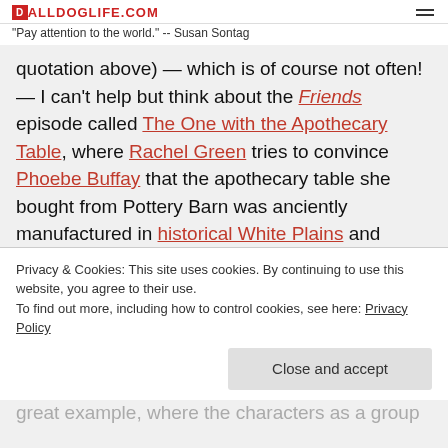ALLDOGLIFE.COM
"Pay attention to the world." -- Susan Sontag
quotation above) — which is of course not often! — I can't help but think about the Friends episode called The One with the Apothecary Table, where Rachel Green tries to convince Phoebe Buffay that the apothecary table she bought from Pottery Barn was anciently manufactured in historical White Plains and purchased from a flea market for the "old time pricing" of "one and fifty dollars". There's a short clip of the episode here, where the first
Privacy & Cookies: This site uses cookies. By continuing to use this website, you agree to their use.
To find out more, including how to control cookies, see here: Privacy Policy
great example, where the characters as a group